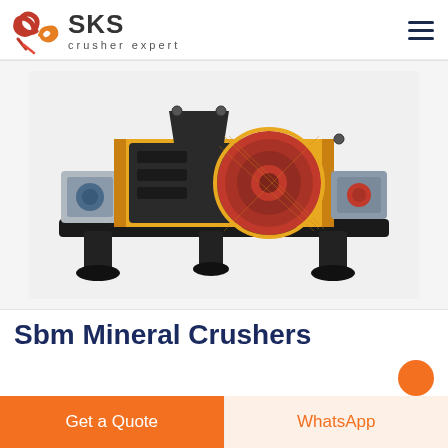[Figure (logo): SKS crusher expert logo with red/orange swirl graphic and dark SKS text with 'crusher expert' subtitle]
[Figure (photo): Industrial double-roller mineral crusher machine with yellow frame, black housing, red circular motor cover, mounted on a black base with support legs]
Sbm Mineral Crushers
Get a Quote
WhatsApp